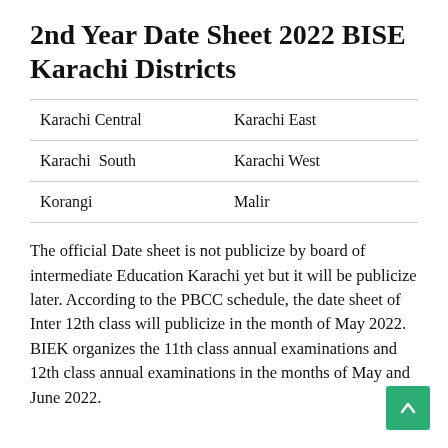2nd Year Date Sheet 2022 BISE Karachi Districts
| Karachi Central | Karachi East |
| Karachi  South | Karachi West |
| Korangi | Malir |
The official Date sheet is not publicize by board of intermediate Education Karachi yet but it will be publicize later. According to the PBCC schedule, the date sheet of Inter 12th class will publicize in the month of May 2022. BIEK organizes the 11th class annual examinations and 12th class annual examinations in the months of May and June 2022.